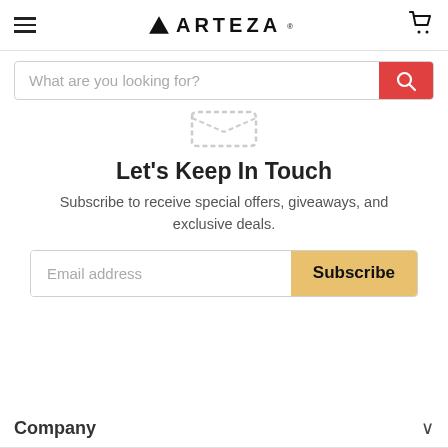ARTEZA
[Figure (screenshot): Search bar with placeholder text 'What are you looking for?' and red search button]
[Figure (illustration): Ghost/error illustration (partial, shows bottom portion)]
Let's Keep In Touch
Subscribe to receive special offers, giveaways, and exclusive deals.
Email address | Subscribe
Company